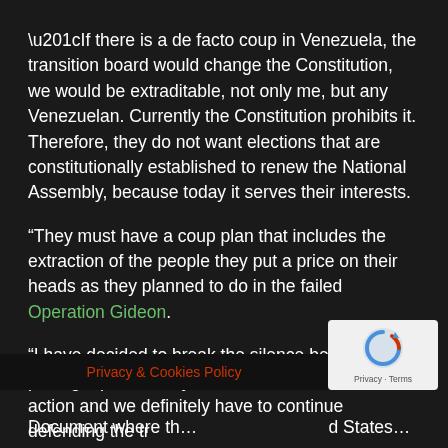“If there is a de facto coup in Venezuela, the transition board would change the Constitution, we would be extraditable, not only me, but any Venezuelan. Currently the Constitution prohibits it. Therefore, they do not want elections that are constitutionally established to renew the National Assembly, because today it serves their interests.
“They must have a coup plan that includes the extraction of the people they put a price on their heads as they planned to do in the failed Operation Gideon.
“I have decided to break the silence because putting a price on my head is as if it were a last action and we definitely have to continue defending the tr…
Privacy & Cookies Policy
Document where th… d States…